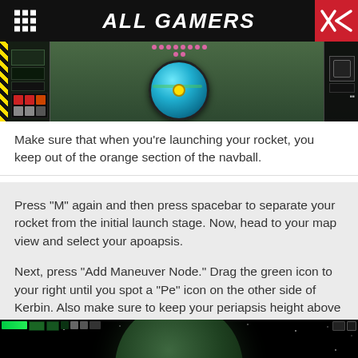ALL GAMERS
[Figure (screenshot): Kerbal Space Program navball screenshot showing the navball display with a blue sphere and pink dot indicator grid, with HUD panels on left and right sides]
Make sure that when you're launching your rocket, you keep out of the orange section of the navball.
Press “M” again and then press spacebar to separate your rocket from the initial launch stage. Now, head to your map view and select your apoapsis.
Next, press “Add Maneuver Node.” Drag the green icon to your right until you spot a “Pe” icon on the other side of Kerbin. Also make sure to keep your periapsis height above 70,000m.
[Figure (screenshot): Kerbal Space Program map view showing a planet (Kerbin) from space with a dark space background]